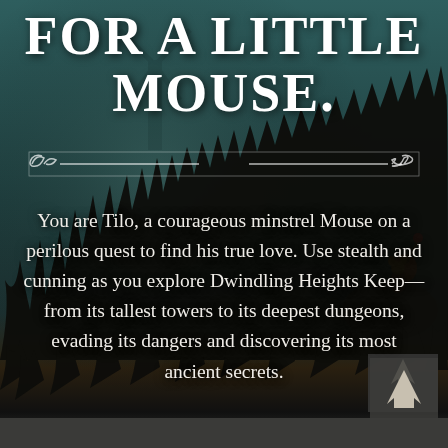[Figure (illustration): Dark fantasy atmospheric background with misty teal/green tones, windmill silhouette in background, character (mouse) silhouette on a rock on the right side, dark grass silhouettes at bottom]
FOR A LITTLE MOUSE.
You are Tilo, a courageous minstrel Mouse on a perilous quest to find his true love. Use stealth and cunning as you explore Dwindling Heights Keep—from its tallest towers to its deepest dungeons, evading its dangers and discovering its most ancient secrets.